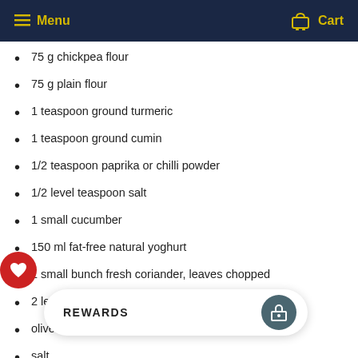Menu | Cart
75 g chickpea flour
75 g plain flour
1 teaspoon ground turmeric
1 teaspoon ground cumin
1/2 teaspoon paprika or chilli powder
1/2 level teaspoon salt
1 small cucumber
150 ml fat-free natural yoghurt
1 small bunch fresh coriander, leaves chopped
2 lemons, 1 cut into wedges
olive oil
salt
freshly ground black pepper
1 [partially visible]
[partially visible]
3 spring onions, trimmed